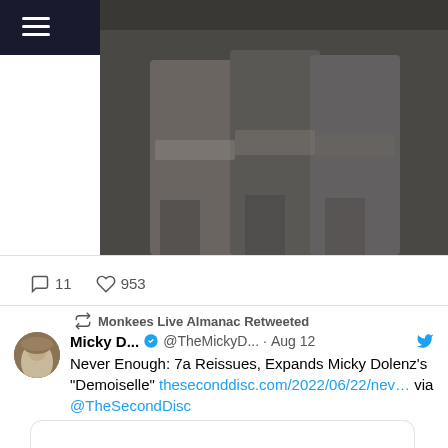[Figure (screenshot): Top navigation bar with hamburger menu icon on dark background]
[Figure (photo): Dark photo showing people in suits, partially cropped]
11  953
Monkees Live Almanac Retweeted
Micky D... @TheMickyD... · Aug 12
Never Enough: 7a Reissues, Expands Micky Dolenz's "Demoiselle" theseconddisc.com/2022/06/22/nev… via @TheSecondDisc
[Figure (screenshot): Linked article preview card, mostly white/empty]